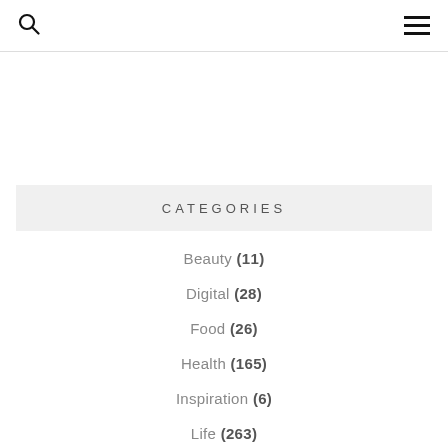Search | Menu
CATEGORIES
Beauty (11)
Digital (28)
Food (26)
Health (165)
Inspiration (6)
Life (263)
Life Coaching Corner (5)